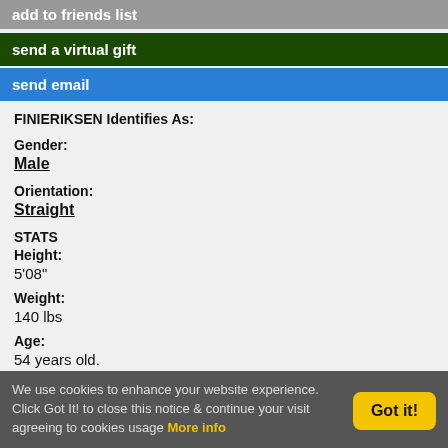add to friends list
send a virtual gift
send email
FINIERIKSEN Identifies As:
Gender:
Male
Orientation:
Straight
STATS
Height:
5'08"
Weight:
140 lbs
Age:
54 years old.
LOCATION
Skælskør, Denmark
We use cookies to enhance your website experience. Click Got It! to close this notice & continue your visit agreeing to cookies usage More info